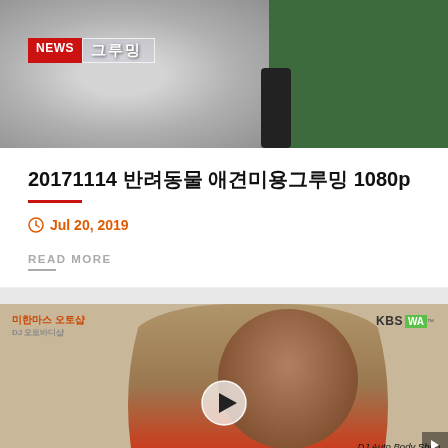[Figure (screenshot): Video thumbnail showing a dog being groomed with NEWS badge and Korean text '그루밍']
20171114 반려동물 애견미용그루밍 1080p
Jul 20, 2019
READ MORE
[Figure (screenshot): Video thumbnail of a man in red shirt being interviewed, with KBS WA watermark, DJ Auto Body Shop branding, phone number 253 732 5596 and Korean text 디제이 오토바디샵]